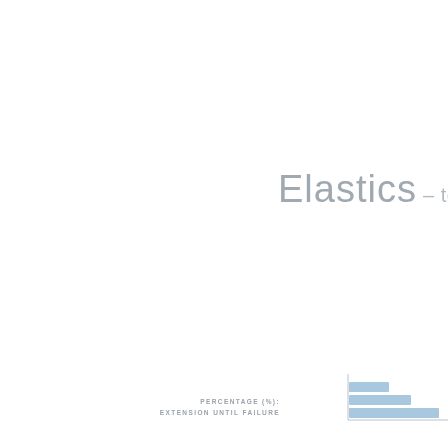Elastics – tensile
Percentage (%): extension until failure
[Figure (bar-chart): Partial bar chart showing percentage extension until failure for elastics, cut off at right edge]